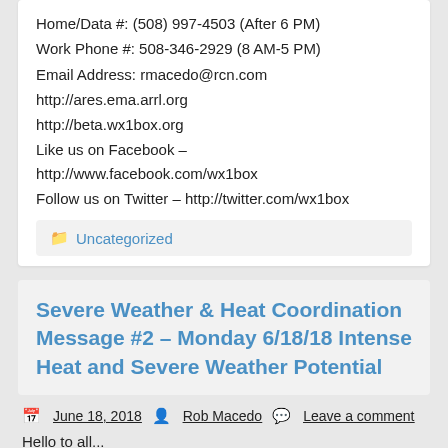Home/Data #: (508) 997-4503 (After 6 PM)
Work Phone #: 508-346-2929 (8 AM-5 PM)
Email Address: rmacedo@rcn.com
http://ares.ema.arrl.org
http://beta.wx1box.org
Like us on Facebook – http://www.facebook.com/wx1box
Follow us on Twitter – http://twitter.com/wx1box
Uncategorized
Severe Weather & Heat Coordination Message #2 – Monday 6/18/18 Intense Heat and Severe Weather Potential
June 18, 2018   Rob Macedo   Leave a comment
Hello to all...